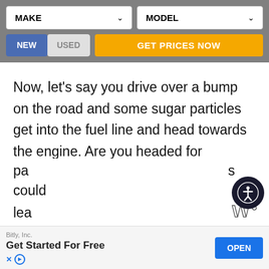[Figure (screenshot): Vehicle search widget with MAKE and MODEL dropdowns, NEW/USED toggle buttons, and GET PRICES NOW button on gray background]
Now, let's say you drive over a bump on the road and some sugar particles get into the fuel line and head towards the engine. Are you headed for disaster? Well, since sugar particles are rather big, they will likely get caught by the fuel filter. However, that doesn't mean you are completely out of the danger zone. The sugar
pa... s could lea...
[Figure (screenshot): Mobile advertisement banner: Bitly, Inc. - Get Started For Free with OPEN button]